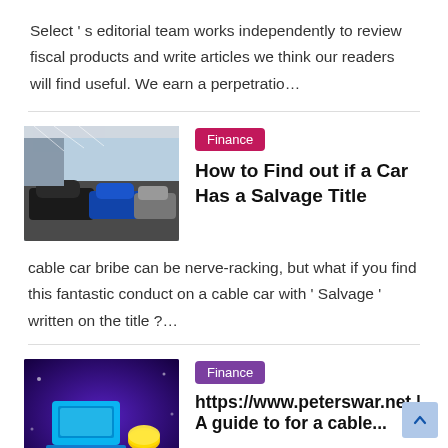Select ’ s editorial team works independently to review fiscal products and write articles we think our readers will find useful. We earn a perpetratio…
[Figure (photo): Photo of cars in a dealership lot with buildings in the background]
Finance
How to Find out if a Car Has a Salvage Title
cable car bribe can be nerve-racking, but what if you find this fantastic conduct on a cable car with ‘ Salvage ’ written on the title ?…
[Figure (photo): Tech illustration with laptop and coins on purple/dark background]
Finance
https://www.peterswar.net | A guide to for a cable...